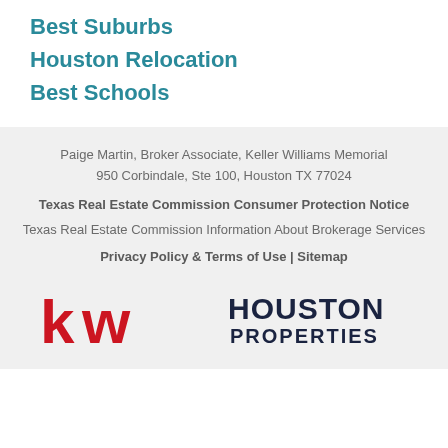Best Suburbs
Houston Relocation
Best Schools
Paige Martin, Broker Associate, Keller Williams Memorial
950 Corbindale, Ste 100, Houston TX 77024
Texas Real Estate Commission Consumer Protection Notice
Texas Real Estate Commission Information About Brokerage Services
Privacy Policy & Terms of Use | Sitemap
[Figure (logo): KW (Keller Williams) logo in red on left; Houston Properties logo in dark blue on right]